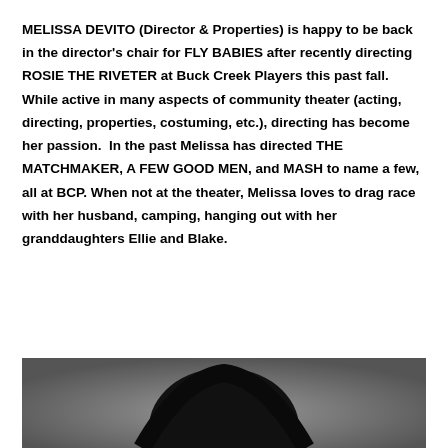MELISSA DEVITO (Director & Properties) is happy to be back in the director's chair for FLY BABIES after recently directing ROSIE THE RIVETER at Buck Creek Players this past fall.  While active in many aspects of community theater (acting, directing, properties, costuming, etc.), directing has become her passion.  In the past Melissa has directed THE MATCHMAKER, A FEW GOOD MEN, and MASH to name a few, all at BCP. When not at the theater, Melissa loves to drag race with her husband, camping, hanging out with her granddaughters Ellie and Blake.
[Figure (photo): Black and white headshot photo showing the top of a person's head with dark hair, cropped at the bottom of the page.]